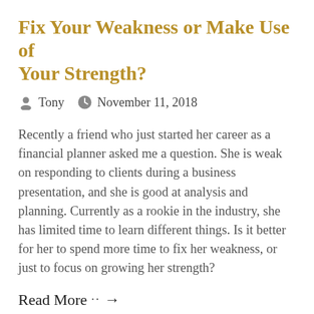Fix Your Weakness or Make Use of Your Strength?
Tony   November 11, 2018
Recently a friend who just started her career as a financial planner asked me a question. She is weak on responding to clients during a business presentation, and she is good at analysis and planning. Currently as a rookie in the industry, she has limited time to learn different things. Is it better for her to spend more time to fix her weakness, or just to focus on growing her strength?
Read More ··→
How to Fund Your Health Insurance